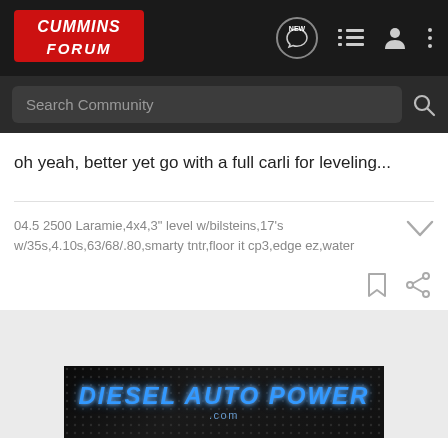Cummins Forum
oh yeah, better yet go with a full carli for leveling...
04.5 2500 Laramie,4x4,3" level w/bilsteins,17's w/35s,4.10s,63/68/.80,smarty tntr,floor it cp3,edge ez,water
[Figure (logo): Diesel Auto Power .com advertisement banner]